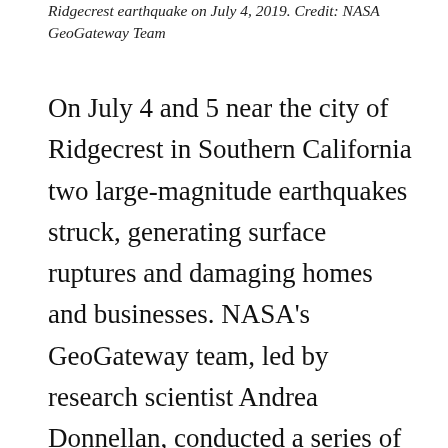Ridgecrest earthquake on July 4, 2019. Credit: NASA GeoGateway Team
On July 4 and 5 near the city of Ridgecrest in Southern California two large-magnitude earthquakes struck, generating surface ruptures and damaging homes and businesses. NASA's GeoGateway team, led by research scientist Andrea Donnellan, conducted a series of drone flights to map in 3D the post-earthquakes changes in topography and terrain. The data was requested by the California Earthquake Clearninghouse and the Geotechnical Extreme Events Reconnaissance (GEER) Association, with flight locations supplied by Christine Goulet, Executive Director for Applied Science at the